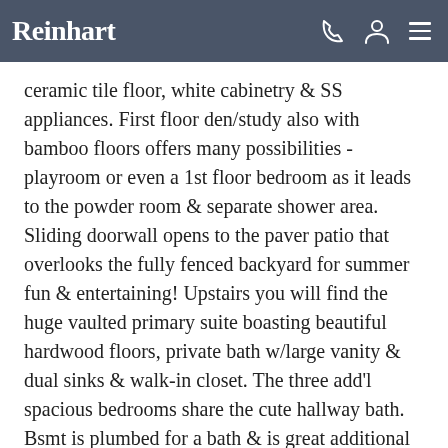Reinhart
ceramic tile floor, white cabinetry & SS appliances. First floor den/study also with bamboo floors offers many possibilities - playroom or even a 1st floor bedroom as it leads to the powder room & separate shower area. Sliding doorwall opens to the paver patio that overlooks the fully fenced backyard for summer fun & entertaining! Upstairs you will find the huge vaulted primary suite boasting beautiful hardwood floors, private bath w/large vanity & dual sinks & walk-in closet. The three add'l spacious bedrooms share the cute hallway bath. Bsmt is plumbed for a bath & is great additional space for rec, play & storage. Other updates include: New Roof 2020, Hot Water Heater 2018 & Newer windows throughout. Greene Farms Sub features walking trails, playground, parks, Greene Farms Recreation Facilities w/pool. Pool pass is $232.40 annually.